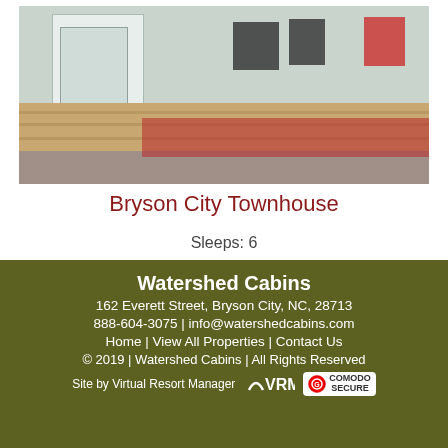[Figure (photo): Exterior photo of Bryson City Townhouse showing a wooden deck/porch with chairs including a red chair, a white door entrance, and gravel landscaping below.]
Bryson City Townhouse
Sleeps: 6
Bedrooms: 3
Baths: 2
Pets: No
Watershed Cabins
162 Everett Street, Bryson City, NC, 28713
888-604-3075 | info@watershedcabins.com
Home | View All Properties | Contact Us
© 2019 | Watershed Cabins | All Rights Reserved
Site by Virtual Resort Manager VRM [COMODO SECURE]